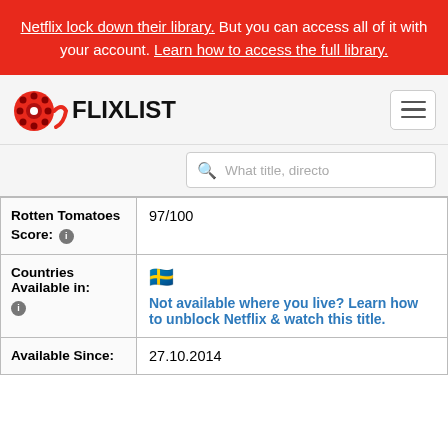Netflix lock down their library. But you can access all of it with your account. Learn how to access the full library.
[Figure (logo): FlixList logo with film reel icon and FLIX LIST text]
What title, director...
| Rotten Tomatoes Score: | 97/100 |
| Countries Available in: | 🇸🇪
Not available where you live? Learn how to unblock Netflix & watch this title. |
| Available Since: | 27.10.2014 |